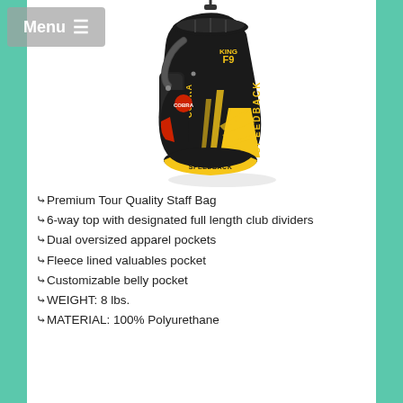[Figure (photo): Cobra King F9 Speedback golf staff bag in black and yellow colorway, with COBRA branding on the side and SPEEDBACK text, featuring a 6-way top divider and multiple pockets visible.]
Premium Tour Quality Staff Bag
6-way top with designated full length club dividers
Dual oversized apparel pockets
Fleece lined valuables pocket
Customizable belly pocket
WEIGHT: 8 lbs.
MATERIAL: 100% Polyurethane